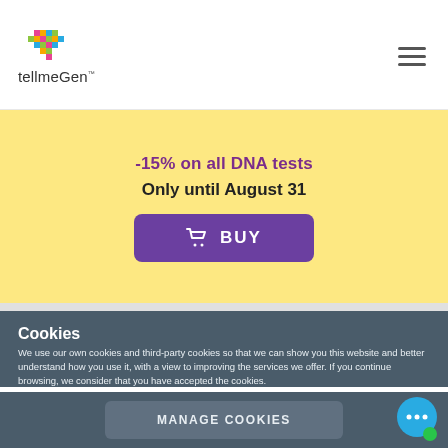[Figure (logo): tellmeGen logo with colorful pixel heart icon and brand name text]
-15% on all DNA tests
Only until August 31
BUY
Cookies
We use our own cookies and third-party cookies so that we can show you this website and better understand how you use it, with a view to improving the services we offer. If you continue browsing, we consider that you have accepted the cookies.
MANAGE COOKIES